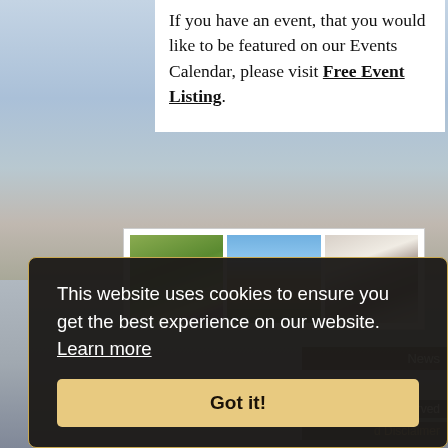If you have an event, that you would like to be featured on our Events Calendar, please visit Free Event Listing.
[Figure (photo): Three photos in a gallery box: a rhino in a grassy park, an Oxford college tower/courtyard, and a bedroom interior.]
This website uses cookies to ensure you get the best experience on our website. Learn more
Got it!
News
s Reserved
d Disclaimer